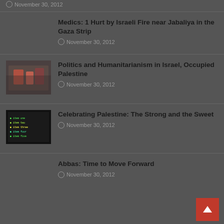November 30, 2012
Medics: 1 Hurt by Israeli Fire near Jabaliya in the Gaza Strip
November 30, 2012
[Figure (photo): Group of people with red clothing outdoors]
Politics and Humanitarianism in Israel, Occupied Palestine
November 30, 2012
[Figure (photo): Dark screen/display with green/yellow text]
Celebrating Palestine: The Strong and the Sweet
November 30, 2012
Abbas: Time to Move Forward
November 30, 2012